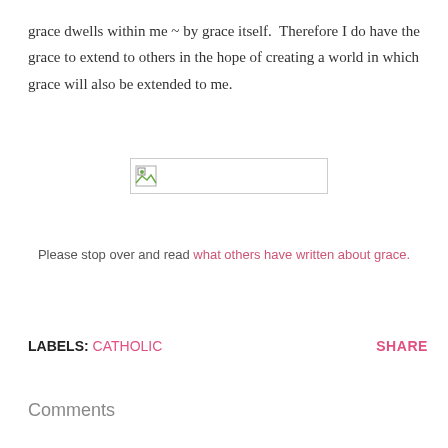grace dwells within me ~ by grace itself.  Therefore I do have the grace to extend to others in the hope of creating a world in which grace will also be extended to me.
[Figure (other): Broken/placeholder image icon inside a rectangular border]
Please stop over and read what others have written about grace.
LABELS: CATHOLIC    SHARE
Comments